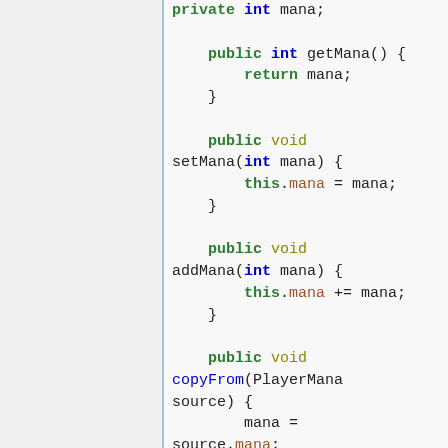[Figure (screenshot): Java source code showing private int mana field and public methods getMana, setMana, addMana, copyFrom, with syntax highlighting: keywords in green/bold, method names in blue, field accesses in brown.]